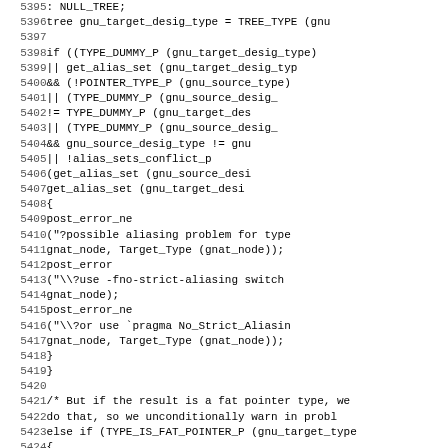[Figure (screenshot): Source code listing showing lines 5395-5426 of a C/Ada compiler source file with line numbers on the left and monospace code on the right.]